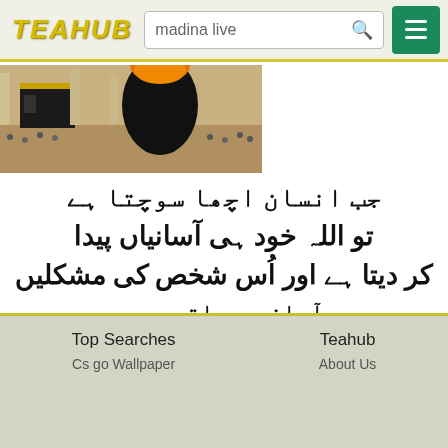TEAHUB | madina live [search]
[Figure (photo): Photograph showing Kaaba in Mecca with crowds of pilgrims and a large figure in the foreground wearing orange headwear]
جب انسان اچھا سوچتا ہے تو اللہ خود ہی آسانیاں پیدا کر دیتا ہے اور اُس شخص کی مشکلیں آسان ہو جاتی ہیں
Top Searches | Cs go Wallpaper | Teahub | About Us